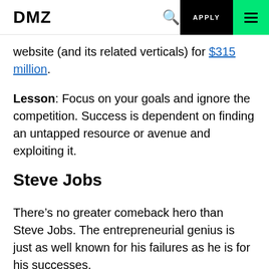DMZ | APPLY
website (and its related verticals) for $315 million.
Lesson: Focus on your goals and ignore the competition. Success is dependent on finding an untapped resource or avenue and exploiting it.
Steve Jobs
There’s no greater comeback hero than Steve Jobs. The entrepreneurial genius is just as well known for his failures as he is for his successes.
Early in his career, he was ousted from Apple, the